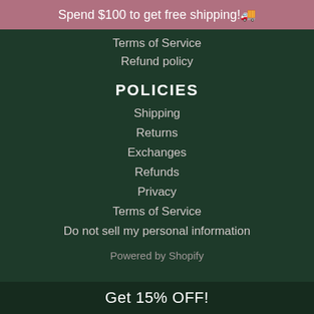Spend $100 to get free shipping!🚚
Terms of Service
Refund policy
POLICIES
Shipping
Returns
Exchanges
Refunds
Privacy
Terms of Service
Do not sell my personal information
Powered by Shopify
Get 15% OFF!